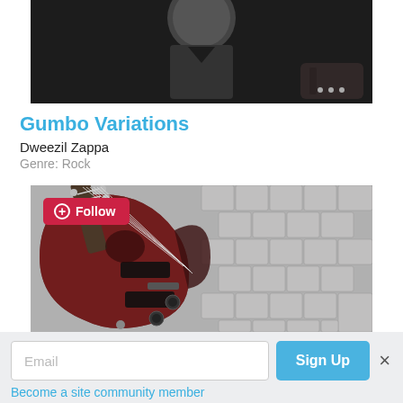[Figure (photo): Black and white photo of a man (Dweezil Zappa) in a black v-neck shirt holding a guitar, with three dots menu icon in lower right]
Gumbo Variations
Dweezil Zappa
Genre: Rock
[Figure (photo): Close-up photo of a red/brown electric guitar body and neck against a textured grey foam sound-proofing wall background, with a red Follow button overlay]
Email
Sign Up
Become a site community member
Our site uses cookies to enhance your experience and understand how you use our site. By continuing to browse this site, you agree to our use of cookies. Privacy Policy